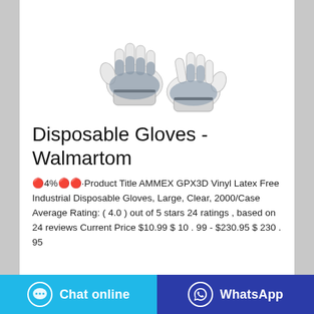[Figure (photo): Product photo of work gloves with white knit back and gray nitrile/rubber coated palm, shown as a pair with fingers interlocked, on white background.]
Disposable Gloves - Walmartom
🔴4%🔴🔴·Product Title AMMEX GPX3D Vinyl Latex Free Industrial Disposable Gloves, Large, Clear, 2000/Case Average Rating: ( 4.0 ) out of 5 stars 24 ratings , based on 24 reviews Current Price $10.99 $ 10 . 99 - $230.95 $ 230 . 95
Chat online
WhatsApp